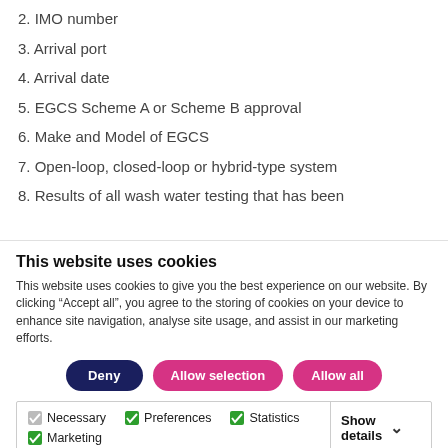2. IMO number
3. Arrival port
4. Arrival date
5. EGCS Scheme A or Scheme B approval
6. Make and Model of EGCS
7. Open-loop, closed-loop or hybrid-type system
8. Results of all wash water testing that has been
This website uses cookies
This website uses cookies to give you the best experience on our website. By clicking “Accept all”, you agree to the storing of cookies on your device to enhance site navigation, analyse site usage, and assist in our marketing efforts.
Deny | Allow selection | Allow all
Necessary  Preferences  Statistics  Marketing  Show details